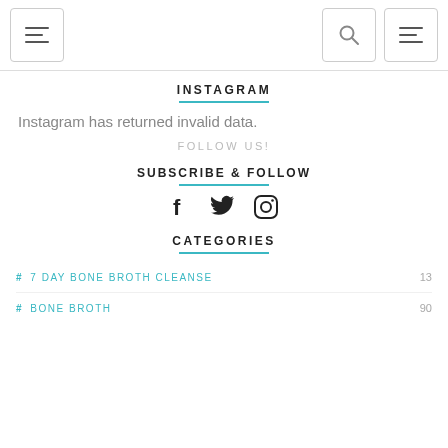Navigation bar with menu, search, and menu icons
INSTAGRAM
Instagram has returned invalid data.
FOLLOW US!
SUBSCRIBE & FOLLOW
[Figure (illustration): Social media icons: Facebook, Twitter, Instagram]
CATEGORIES
# 7 DAY BONE BROTH CLEANSE  13
# BONE BROTH  90